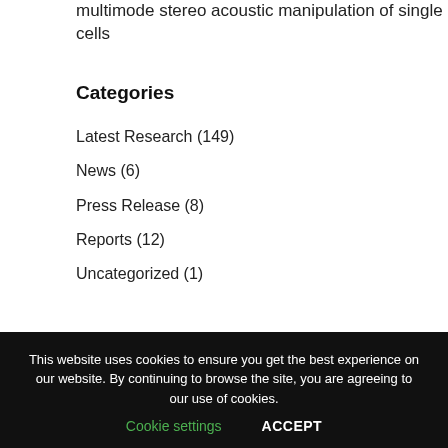multimode stereo acoustic manipulation of single cells
Categories
Latest Research (149)
News (6)
Press Release (8)
Reports (12)
Uncategorized (1)
This website uses cookies to ensure you get the best experience on our website. By continuing to browse the site, you are agreeing to our use of cookies.
Cookie settings   ACCEPT